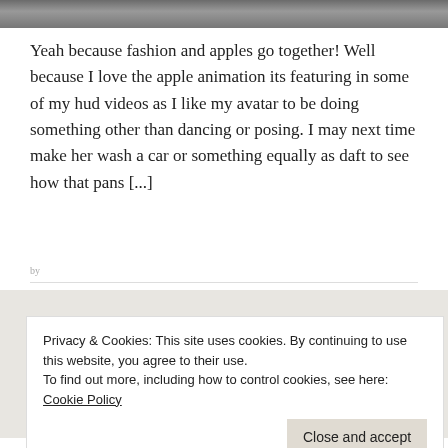[Figure (photo): Top strip showing a cobblestone or brick background photo, partially visible]
Yeah because fashion and apples go together! Well because I love the apple animation its featuring in some of my hud videos as I like my avatar to be doing something other than dancing or posing. I may next time make her wash a car or something equally as daft to see how that pans [...]
LINDEN LAB, SECOND LIFE FASHION, SECOND LIFE NEW, UNCATEGORIZED, VIRTUAL WORLDS
Privacy & Cookies: This site uses cookies. By continuing to use this website, you agree to their use.
To find out more, including how to control cookies, see here: Cookie Policy
Close and accept
I am on a bus stuck in traffic with a bunch of loud schoolies. My